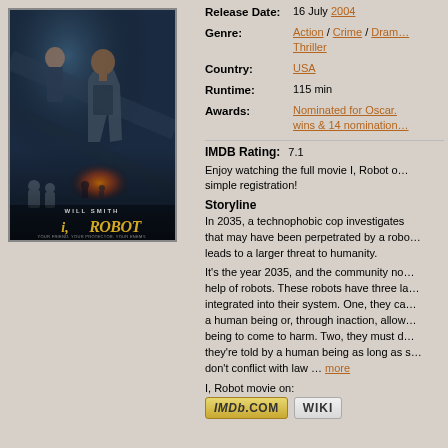[Figure (photo): Movie poster for I, Robot (2004) featuring Will Smith and a female actor, with robots and an explosion in the background. Dark blue/teal tones with orange fire glow. Text reads WILL SMITH and i,ROBOT.]
Release Date: 16 July 2004
Genre: Action / Crime / Drama / Thriller
Country: USA
Runtime: 115 min
Awards: Nominated for Oscar. 2 wins & 14 nominations
IMDB Rating: 7.1
Enjoy watching the full movie I, Robot on simple registration!
Storyline
In 2035, a technophobic cop investigates that may have been perpetrated by a robot leads to a larger threat to humanity.
It's the year 2035, and the community now help of robots. These robots have three la integrated into their system. One, they ca a human being or, through inaction, allow being to come to harm. Two, they must d they're told by a human being as long as don't conflict with law ... more
I, Robot movie on:
[Figure (logo): IMDb.com button logo in gold/yellow]
[Figure (logo): WIKI button in grey]